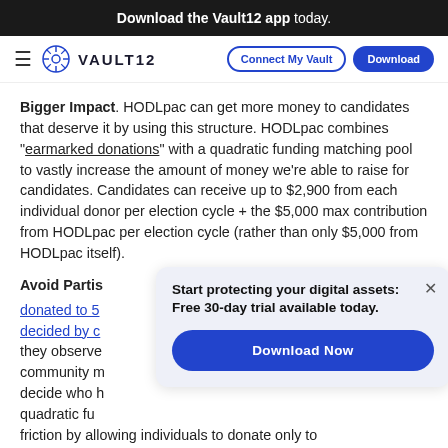Download the Vault12 app today.
VAULT12  Connect My Vault  Download
Bigger Impact. HODLpac can get more money to candidates that deserve it by using this structure. HODLpac combines "earmarked donations" with a quadratic funding matching pool to vastly increase the amount of money we're able to raise for candidates. Candidates can receive up to $2,900 from each individual donor per election cycle + the $5,000 max contribution from HODLpac per election cycle (rather than only $5,000 from HODLpac itself).
Avoid Partisan... donated to 5... decided by o... they observe... community m... decide who h... quadratic fu... friction by allowing individuals to donate only to candidates they are willing to support (while having those
[Figure (infographic): Popup CTA overlay: 'Start protecting your digital assets: Free 30-day trial available today.' with a 'Download Now' blue button and a close X button, on a light blue-gray background.]